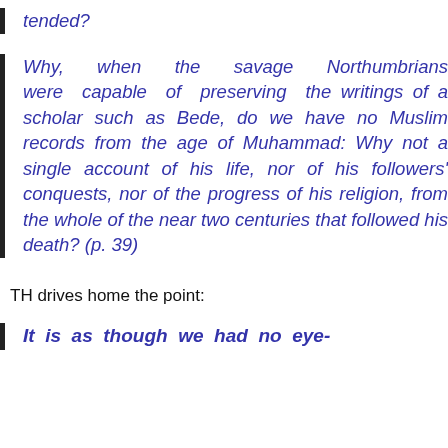tended?
Why, when the savage Northumbrians were capable of preserving the writings of a scholar such as Bede, do we have no Muslim records from the age of Muhammad: Why not a single account of his life, nor of his followers' conquests, nor of the progress of his religion, from the whole of the near two centuries that followed his death? (p. 39)
TH drives home the point:
It is as though we had no eye-witness accounts of the Protestant